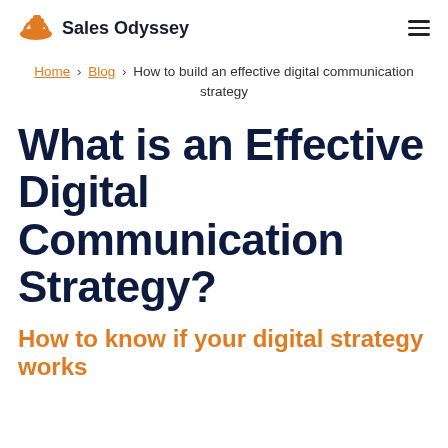Sales Odyssey
Home › Blog › How to build an effective digital communication strategy
What is an Effective Digital Communication Strategy?
How to know if your digital strategy works